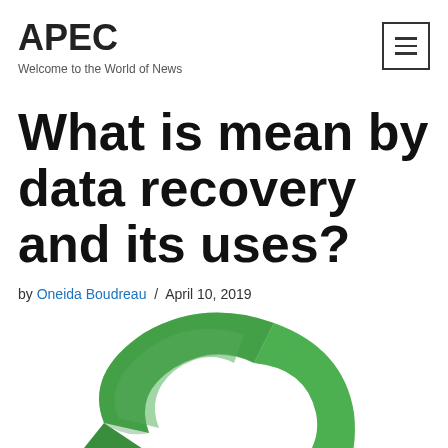APEC
Welcome to the World of News
What is mean by data recovery and its uses?
by Oneida Boudreau / April 10, 2019
[Figure (illustration): Green circular arrow icon representing data recovery, partially visible at the bottom of the page]